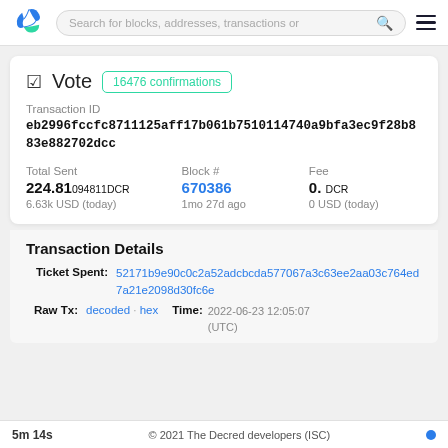Search for blocks, addresses, transactions or
Vote  16476 confirmations
Transaction ID
eb2996fccfc8711125aff17b061b7510114740a9bfa3ec9f28b883e882702dcc
| Total Sent | Block # | Fee |
| --- | --- | --- |
| 224.81094811DCR | 670386 | 0. DCR |
| 6.63k USD (today) | 1mo 27d ago | 0 USD (today) |
Transaction Details
Ticket Spent: 52171b9e90c0c2a52adcbcda577067a3c63ee2aa03c764ed7a21e2098d30fc6e
Raw Tx: decoded · hex   Time: 2022-06-23 12:05:07 (UTC)
5m 14s   © 2021 The Decred developers (ISC)